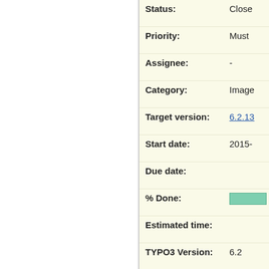| Field | Value |
| --- | --- |
| Status: | Close |
| Priority: | Must |
| Assignee: | - |
| Category: | Image |
| Target version: | 6.2.13 |
| Start date: | 2015- |
| Due date: |  |
| % Done: | [progress bar] |
| Estimated time: |  |
| TYPO3 Version: | 6.2 |
| PHP Version: | 5.5 |
| Tags: |  |
| Complexity: |  |
| Is Regression: | Yes |
| Sprint Focus: | Stabil |
Description
Instead of getting a scaled and then cropped the image I seem to get a crop with the dimensions starting at the top left corner image.
The following snippet worked in TYPO3 breaks in 6.2.10 and 6.2.11: